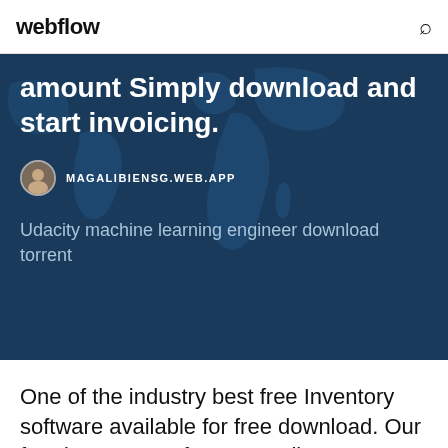webflow
amount Simply download and start invoicing.
MAGALIBIENSG.WEB.APP
Udacity machine learning engineer download torrent
One of the industry best free Inventory software available for free download. Our free inventory software sending